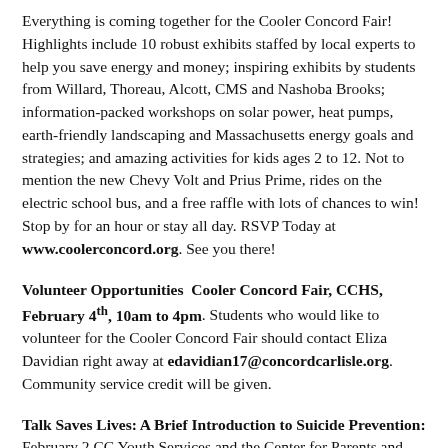Everything is coming together for the Cooler Concord Fair! Highlights include 10 robust exhibits staffed by local experts to help you save energy and money; inspiring exhibits by students from Willard, Thoreau, Alcott, CMS and Nashoba Brooks; information-packed workshops on solar power, heat pumps, earth-friendly landscaping and Massachusetts energy goals and strategies; and amazing activities for kids ages 2 to 12. Not to mention the new Chevy Volt and Prius Prime, rides on the electric school bus, and a free raffle with lots of chances to win! Stop by for an hour or stay all day. RSVP Today at www.coolerconcord.org. See you there!
Volunteer Opportunities  Cooler Concord Fair, CCHS, February 4th, 10am to 4pm. Students who would like to volunteer for the Cooler Concord Fair should contact Eliza Davidian right away at edavidian17@concordcarlisle.org. Community service credit will be given.
Talk Saves Lives: A Brief Introduction to Suicide Prevention: February 2 CC Youth Services and the Center for Parents and Teachers invite all interested adults to a free "Lunch and Learn" program on Thursday, Feb 2 from 11:30 t